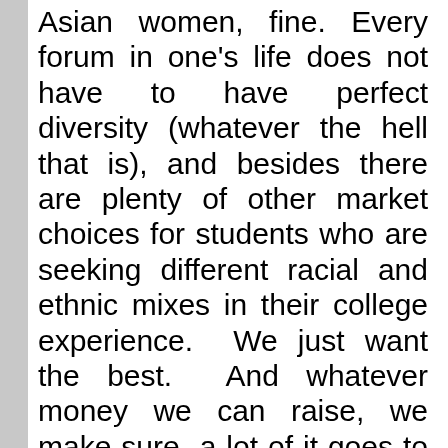Asian women, fine. Every forum in one's life does not have to have perfect diversity (whatever the hell that is), and besides there are plenty of other market choices for students who are seeking different racial and ethnic mixes in their college experience. We just want the best. And whatever money we can raise, we make sure a lot of it goes to financial aid rather than prettier buildings (have you seen what they are building at colleges these days?) so we can make sure the best can afford to attend.